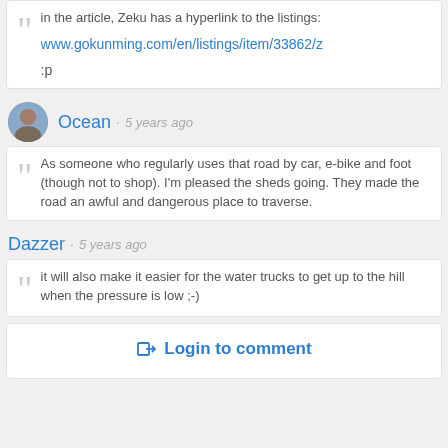in the article, Zeku has a hyperlink to the listings: www.gokunming.com/en/listings/item/33862/z :p
Ocean · 5 years ago
As someone who regularly uses that road by car, e-bike and foot (though not to shop). I'm pleased the sheds going. They made the road an awful and dangerous place to traverse.
Dazzer · 5 years ago
it will also make it easier for the water trucks to get up to the hill when the pressure is low ;-)
Login to comment